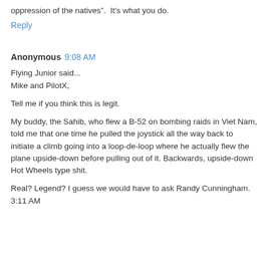oppression of the natives".  It's what you do.
Reply
Anonymous  9:08 AM
Flying Junior said...
Mike and PilotX,

Tell me if you think this is legit.

My buddy, the Sahib, who flew a B-52 on bombing raids in Viet Nam, told me that one time he pulled the joystick all the way back to initiate a climb going into a loop-de-loop where he actually flew the plane upside-down before pulling out of it. Backwards, upside-down Hot Wheels type shit.

Real? Legend? I guess we would have to ask Randy Cunningham.
3:11 AM